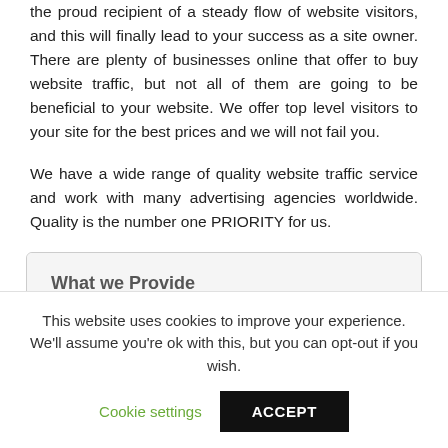the proud recipient of a steady flow of website visitors, and this will finally lead to your success as a site owner. There are plenty of businesses online that offer to buy website traffic, but not all of them are going to be beneficial to your website. We offer top level visitors to your site for the best prices and we will not fail you.
We have a wide range of quality website traffic service and work with many advertising agencies worldwide. Quality is the number one PRIORITY for us.
What we Provide
Processing time & Requirements
This website uses cookies to improve your experience. We'll assume you're ok with this, but you can opt-out if you wish.